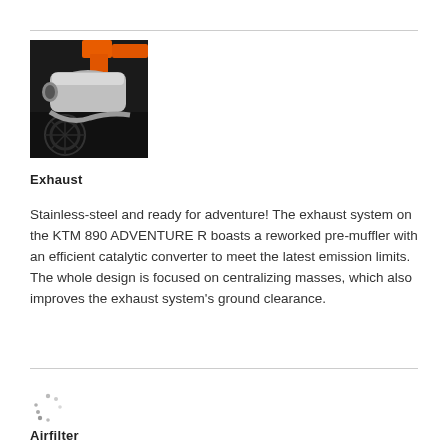[Figure (photo): Close-up photo of a motorcycle exhaust system with silver muffler and orange frame components (KTM 890 Adventure R)]
Exhaust
Stainless-steel and ready for adventure! The exhaust system on the KTM 890 ADVENTURE R boasts a reworked pre-muffler with an efficient catalytic converter to meet the latest emission limits. The whole design is focused on centralizing masses, which also improves the exhaust system's ground clearance.
[Figure (other): Loading spinner icon]
Airfilter